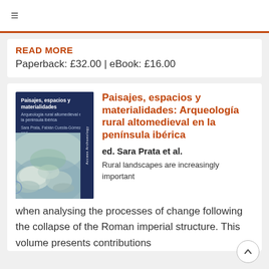≡
READ MORE
Paperback: £32.00 | eBook: £16.00
[Figure (illustration): Book cover for 'Paisajes, espacios y materialidades: Arqueología rural altomedieval en la península ibérica' by Sara Prata, Fabián Cuesta-Gómez and Catarina Tente. Dark navy blue cover with watercolour illustration of stones/rocks.]
Paisajes, espacios y materialidades: Arqueología rural altomedieval en la península ibérica
ed. Sara Prata et al.
Rural landscapes are increasingly important when analysing the processes of change following the collapse of the Roman imperial structure. This volume presents contributions